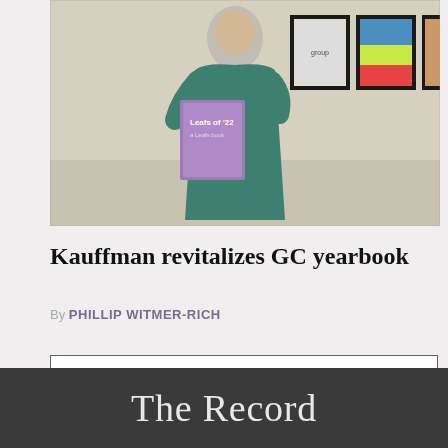[Figure (photo): Person in teal/green dress holding a yearbook magazine ('Leafs of '22'), standing in front of a wall with several framed pictures/yearbook covers]
Kauffman revitalizes GC yearbook
By PHILLIP WITMER-RICH
MORE STORIES
The Record